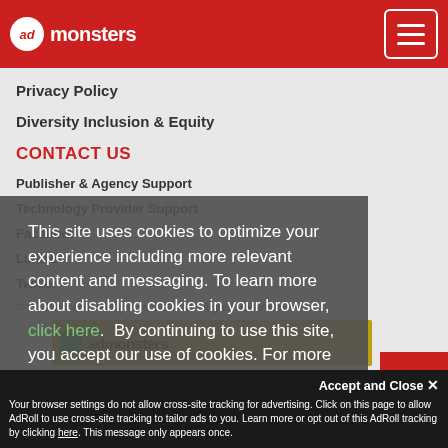admonsters
Privacy Policy
Diversity Inclusion & Equity
CONTACT US
Publisher & Agency Support
Technology Provider Support
Facebook
LinkedIn
Twitter
© 2022 Access Intelligence, LLC – All Rights Reserved.
This site uses cookies to optimize your experience including more relevant content and messaging. To learn more about disabling cookies in your browser, click here. By continuing to use this site, you accept our use of cookies. For more information, view our updated Privacy Policy.
Accept and Close ✕
Your browser settings do not allow cross-site tracking for advertising. Click on this page to allow AdRoll to use cross-site tracking to tailor ads to you. Learn more or opt out of this AdRoll tracking by clicking here. This message only appears once.